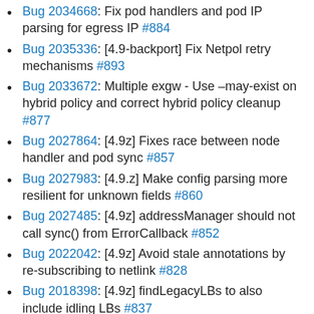Bug 2034668: Fix pod handlers and pod IP parsing for egress IP #884
Bug 2035336: [4.9-backport] Fix Netpol retry mechanisms #893
Bug 2033672: Multiple exgw - Use –may-exist on hybrid policy and correct hybrid policy cleanup #877
Bug 2027864: [4.9z] Fixes race between node handler and pod sync #857
Bug 2027983: [4.9.z] Make config parsing more resilient for unknown fields #860
Bug 2027485: [4.9z] addressManager should not call sync() from ErrorCallback #852
Bug 2022042: [4.9z] Avoid stale annotations by re-subscribing to netlink #828
Bug 2018398: [4.9z] findLegacyLBs to also include idling LBs #837
Bug 2016945: Update iface-id-ver for existing ports #805
Bug 1997072: [4.9] phase 2 scale improvements